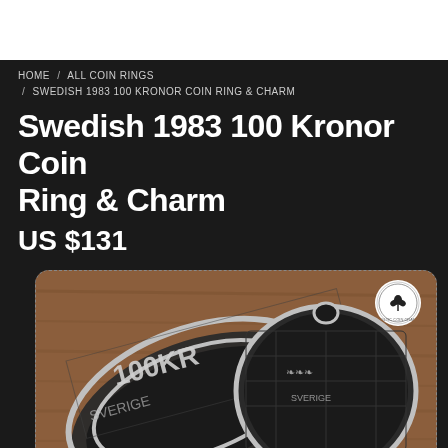HOME / ALL COIN RINGS / SWEDISH 1983 100 KRONOR COIN RING & CHARM
Swedish 1983 100 Kronor Coin Ring & Charm
US $131
[Figure (photo): Close-up photo of a silver coin ring and charm made from a Swedish 1983 100 Kronor coin, showing engraved text '100KR' and ornate designs, on a brown wooden background]